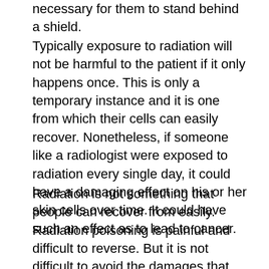necessary for them to stand behind a shield.
Typically exposure to radiation will not be harmful to the patient if it only happens once. This is only a temporary instance and it is one from which their cells can easily recover. Nonetheless, if someone like a radiologist were exposed to radiation every single day, it could have a damaging effect on his or her skin cells over time. It could have such an effect as to lead to cancer.
Radiation is not something that people can recover from easily. Radiation poisoning is painful and difficult to reverse. But it is not difficult to avoid the damages that this can cause by taking the proper safety procedures to begin with. This can prevent cellular damage in the long run and